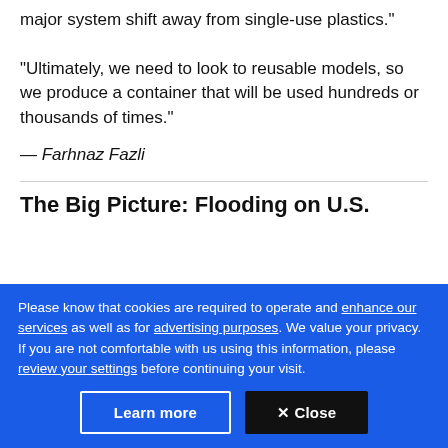major system shift away from single-use plastics."
"Ultimately, we need to look to reusable models, so we produce a container that will be used hundreds or thousands of times."
— Farhnaz Fazli
The Big Picture: Flooding on U.S.
Please know that cookies are required to operate and enhance our services as well as for advertising purposes. We value your privacy. If you are not comfortable with us using this information, please review your settings before continuing your visit.